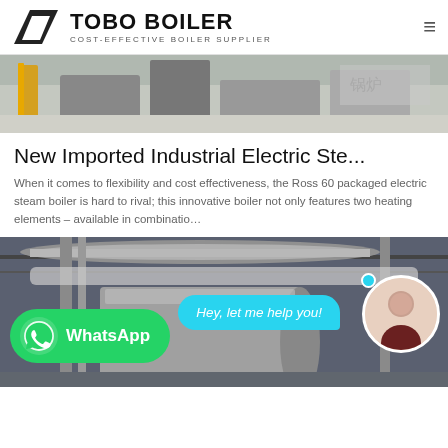TOBO BOILER — COST-EFFECTIVE BOILER SUPPLIER
[Figure (photo): Industrial boiler equipment in a warehouse/factory setting]
New Imported Industrial Electric Ste...
When it comes to flexibility and cost effectiveness, the Ross 60 packaged electric steam boiler is hard to rival; this innovative boiler not only features two heating elements – available in combinatio…
[Figure (photo): Large industrial boilers and piping in a factory, with WhatsApp chat widget overlay showing 'Hey, let me help you!' and a WhatsApp button]